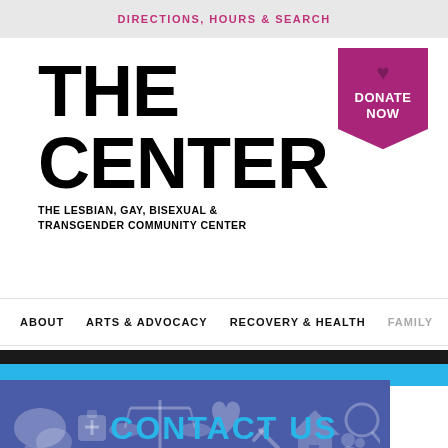DIRECTIONS, HOURS & SEARCH
THE CENTER
THE LESBIAN, GAY, BISEXUAL & TRANSGENDER COMMUNITY CENTER
[Figure (logo): Donate Now badge with purple/magenta color, bookmark shape, heart icon, and white text DONATE NOW]
ABOUT  ARTS & ADVOCACY  RECOVERY & HEALTH  FAMILY
[Figure (illustration): Blue banner with white/light icons: chat bubbles, medical bag, scales of justice, heart, wrench/tools, house, person with magnifying glass, couple]
CONTACT US